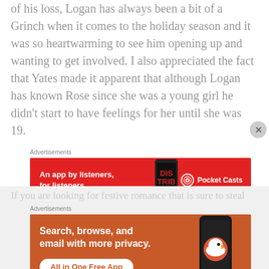of his loss, Logan has always been a bit of a Grinch when it comes to the holiday season and it was so heartwarming to see him opening up and wanting to get involved. I also appreciated the fact that Yates made it apparent that although Logan has known Rose since she was a young girl he didn't start to have feelings for her until she was 19.
Advertisements
[Figure (screenshot): Pocket Casts advertisement banner: red background with text 'An app by listeners, for listeners.' and Pocket Casts logo with phone graphic]
REPORT THIS AD
obscured text line
Advertisements
[Figure (screenshot): DuckDuckGo advertisement banner: orange-brown background with text 'Search, browse, and email with more privacy. All in One Free App' and DuckDuckGo logo with phone graphic]